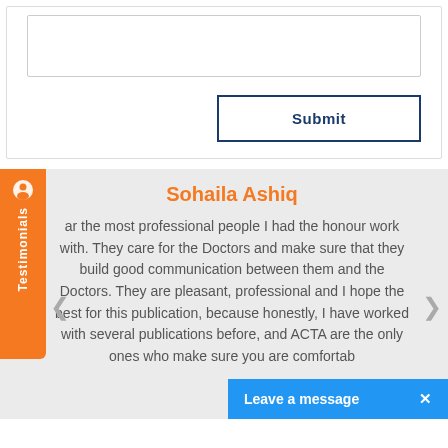[Figure (screenshot): A textarea input box for user text entry]
Submit
[Figure (screenshot): Orange Testimonials tab badge on the left side]
Sohaila Ashiq
ar the most professional people I had the honour work with. They care for the Doctors and make sure that they build good communication between them and the Doctors. They are pleasant, professional and I hope the best for this publication, because honestly, I have worked with several publications before, and ACTA are the only ones who make sure you are comfortab
Leave a message